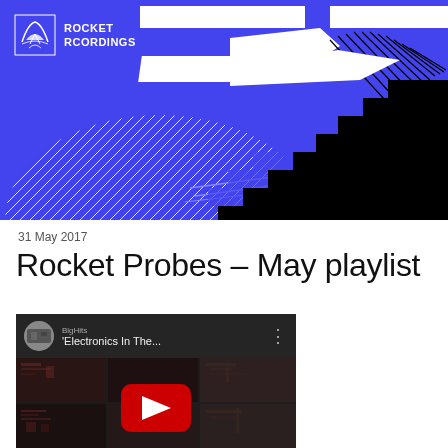[Figure (illustration): Rocket Recordings website header banner with blue/purple background, geometric abstract graphic design featuring white horizontal bars, diagonal hatching lines, black and blue pixel staircase pattern on right side, and blue diagonal accent lines. Features Rocket Recordings logo top left with bird icon.]
31 May 2017
Rocket Probes – May playlist
[Figure (screenshot): YouTube video embed thumbnail showing 'Electronics In The...' video. Dark background with circuit board imagery divided into grid cells, red YouTube play button centered. Channel avatar and video title visible in top bar with three-dot menu icon.]